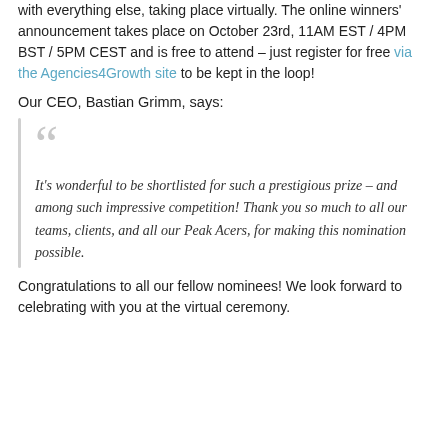with everything else, taking place virtually. The online winners' announcement takes place on October 23rd, 11AM EST / 4PM BST / 5PM CEST and is free to attend – just register for free via the Agencies4Growth site to be kept in the loop!
Our CEO, Bastian Grimm, says:
It's wonderful to be shortlisted for such a prestigious prize – and among such impressive competition! Thank you so much to all our teams, clients, and all our Peak Acers, for making this nomination possible.
Congratulations to all our fellow nominees! We look forward to celebrating with you at the virtual ceremony.